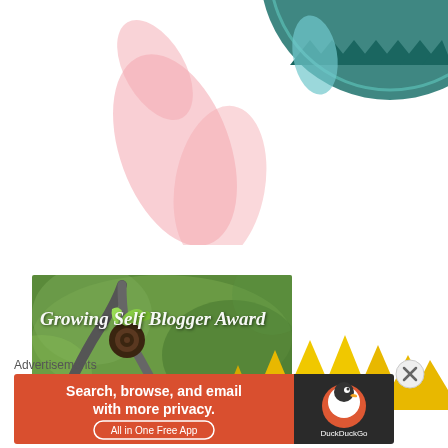[Figure (illustration): Top portion of a decorative badge/award graphic with teal zigzag border and pink leaf decorations, partially cropped at top]
[Figure (photo): Photo of a young curling fern frond with text overlay reading 'Growing Self Blogger Award' in white serif italic font on a green nature background]
[Figure (illustration): Bottom portion of a yellow sunflower petal illustration, partially cropped]
Advertisements
[Figure (screenshot): DuckDuckGo advertisement banner: orange/red background with text 'Search, browse, and email with more privacy. All in One Free App' and DuckDuckGo duck logo on dark right panel]
[Figure (illustration): Close button (X in circle) overlay for the advertisement]